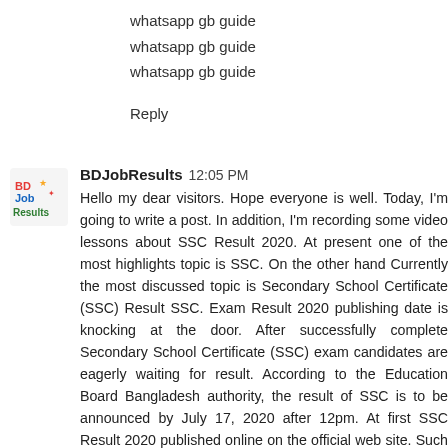whatsapp gb guide
whatsapp gb guide
whatsapp gb guide
Reply
BDJobResults  12:05 PM
Hello my dear visitors. Hope everyone is well. Today, I'm going to write a post. In addition, I'm recording some video lessons about SSC Result 2020. At present one of the most highlights topic is SSC. On the other hand Currently the most discussed topic is Secondary School Certificate (SSC) Result SSC. Exam Result 2020 publishing date is knocking at the door. After successfully complete Secondary School Certificate (SSC) exam candidates are eagerly waiting for result. According to the Education Board Bangladesh authority, the result of SSC is to be announced by July 17, 2020 after 12pm. At first SSC Result 2020 published online on the official web site. Such as Educationboardresults.gov.bd and on eboardresults.com.